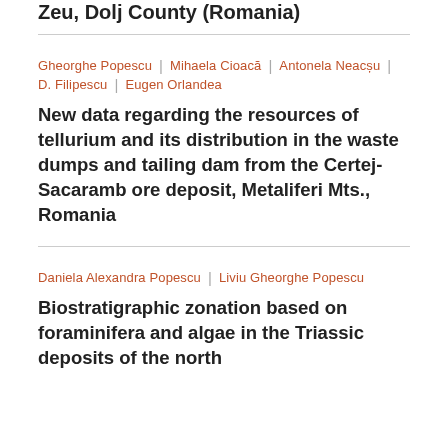Zeu, Dolj County (Romania)
Gheorghe Popescu | Mihaela Cioacă | Antonela Neacșu | D. Filipescu | Eugen Orlandea
New data regarding the resources of tellurium and its distribution in the waste dumps and tailing dam from the Certej-Sacaramb ore deposit, Metaliferi Mts., Romania
Daniela Alexandra Popescu | Liviu Gheorghe Popescu
Biostratigraphic zonation based on foraminifera and algae in the Triassic deposits of the north